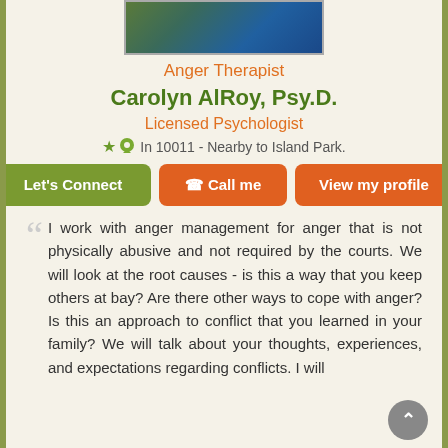[Figure (photo): Profile photo of therapist, partially visible at top of page with blue and green tones]
Anger Therapist
Carolyn AlRoy, Psy.D.
Licensed Psychologist
In 10011 - Nearby to Island Park.
Let's Connect  Call me  View my profile
I work with anger management for anger that is not physically abusive and not required by the courts. We will look at the root causes - is this a way that you keep others at bay? Are there other ways to cope with anger? Is this an approach to conflict that you learned in your family? We will talk about your thoughts, experiences, and expectations regarding conflicts. I will